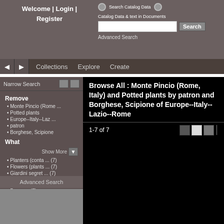Welcome | Login | Register
Search Catalog Data   Catalog Data & text in Documents
Advanced Search
Collections   Explore   Create
Narrow Search
Remove
Monte Pincio (Rome ...
Potted plants
Europe--Italy--Laz ...
patron
Borghese, Scipione
What
Show More
Planters (conta ... (7)
Flowers (plants ... (7)
Giardini segret ... (7)
When
Baroque (7)
Advanced Search
Browse All : Monte Pincio (Rome, Italy) and Potted plants by patron and Borghese, Scipione of Europe--Italy--Lazio--Rome
1-7 of 7
Flower garden
Borghese, Scipione